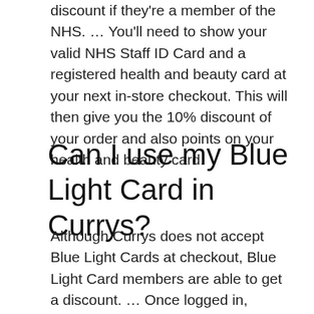discount if they're a member of the NHS. … You'll need to show your valid NHS Staff ID Card and a registered health and beauty card at your next in-store checkout. This will then give you the 10% discount of your order and also points on your health and beauty card.
Can I use my Blue Light Card in Currys?
Although Currys does not accept Blue Light Cards at checkout, Blue Light Card members are able to get a discount. … Once logged in, members will be able to find Currys under the voucher section. These vouchers can be used at Currys and allow members to save money on their next order.